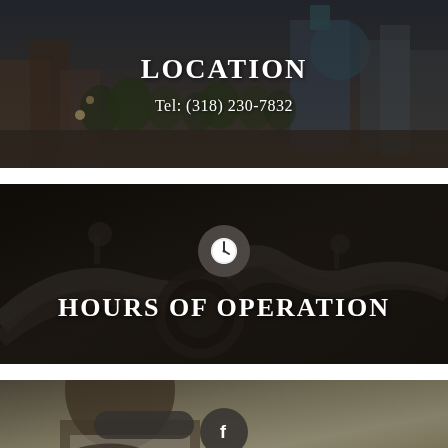[Figure (photo): City skyline banner image with dark overlay, showing urban buildings and trees at dusk]
LOCATION
Tel: (318) 230-7832
[Figure (photo): Stethoscope close-up photo with dark overlay, clock icon above text]
HOURS OF OPERATION
[Figure (photo): Female healthcare professional with stethoscope, partial view, with Facebook icon circle and a dark bar element]